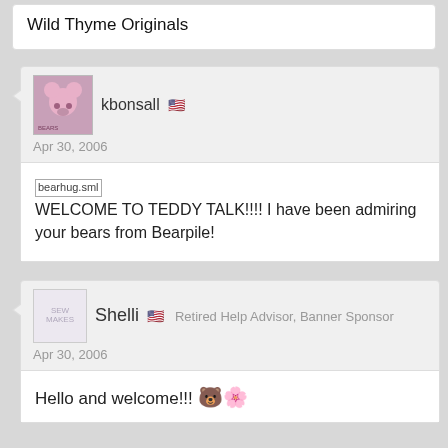Wild Thyme Originals
kbonsall 🇺🇸
Apr 30, 2006
[bearhug.sml] WELCOME TO TEDDY TALK!!!! I have been admiring your bears from Bearpile!
Shelli 🇺🇸  Retired Help Advisor, Banner Sponsor
Apr 30, 2006
Hello and welcome!!! 🐻🌸